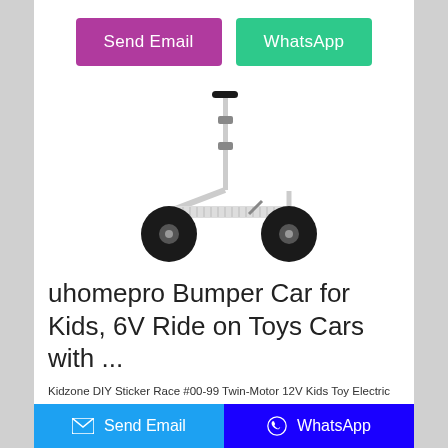[Figure (other): Two action buttons: 'Send Email' (purple/magenta) and 'WhatsApp' (green)]
[Figure (photo): White kick scooter with two large black wheels and adjustable T-bar handle, product photo on white background]
uhomepro Bumper Car for Kids, 6V Ride on Toys Cars with ...
Kidzone DIY Sticker Race #00-99 Twin-Motor 12V Kids Toy Electric Ride On Bumper Car Vehicle Remote Control Bluetooth Music 360 Spin ASTM-Certified, Red 2 3 out of 5 Stars. 2 reviews 3+ day shipping
[Figure (other): Footer bar with two buttons: 'Send Email' (light blue) and 'WhatsApp' (dark blue)]